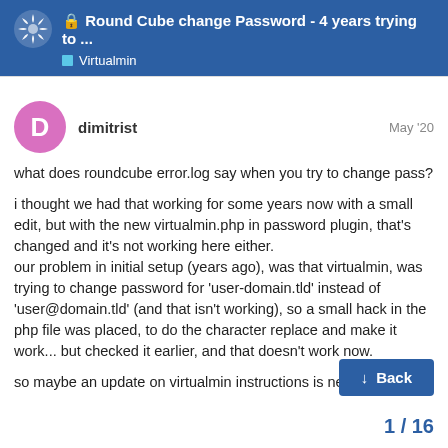Round Cube change Password - 4 years trying to ... | Virtualmin
dimitrist
May '20
what does roundcube error.log say when you try to change pass?

i thought we had that working for some years now with a small edit, but with the new virtualmin.php in password plugin, that's changed and it's not working here either.
our problem in initial setup (years ago), was that virtualmin, was trying to change password for 'user-domain.tld' instead of 'user@domain.tld' (and that isn't working), so a small hack in the php file was placed, to do the character replace and make it work... but checked it earlier, and that doesn't work now.

so maybe an update on virtualmin instructions is needed...